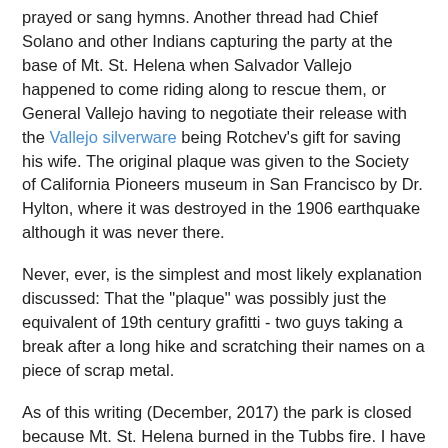prayed or sang hymns. Another thread had Chief Solano and other Indians capturing the party at the base of Mt. St. Helena when Salvador Vallejo happened to come riding along to rescue them, or General Vallejo having to negotiate their release with the Vallejo silverware being Rotchev's gift for saving his wife. The original plaque was given to the Society of California Pioneers museum in San Francisco by Dr. Hylton, where it was destroyed in the 1906 earthquake although it was never there.
Never, ever, is the simplest and most likely explanation discussed: That the "plaque" was possibly just the equivalent of 19th century grafitti - two guys taking a break after a long hike and scratching their names on a piece of scrap metal.
As of this writing (December, 2017) the park is closed because Mt. St. Helena burned in the Tubbs fire. I have been unable to reach anyone in the park service who can tell me whether the marker is still intact; the copper could have melted or the whole thing could have been run over by a big CalFire truck.